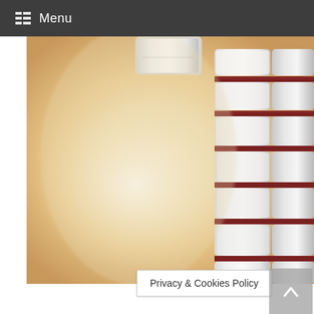Menu
[Figure (photo): Close-up macro photograph of a watch bracelet/band showing metallic silver links with dark red/burgundy accent stripes between the links, against a warm blurred golden-beige background]
Privacy & Cookies Policy